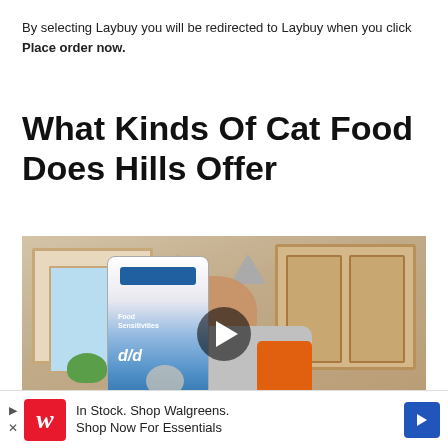By selecting Laybuy you will be redirected to Laybuy when you click Place order now.
What Kinds Of Cat Food Does Hills Offer
[Figure (screenshot): Video thumbnail showing a person wearing a cat hoodie holding a Hill's prescription diet cat food bag (d/d variety), with a play button overlay in the center.]
In Stock. Shop Walgreens. Shop Now For Essentials